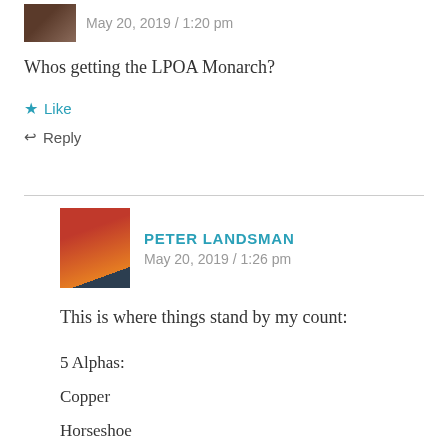May 20, 2019 / 1:20 pm
Whos getting the LPOA Monarch?
★ Like
↩ Reply
PETER LANDSMAN
May 20, 2019 / 1:26 pm
This is where things stand by my count:
5 Alphas:
Copper
Horseshoe
Killington
Revelstoke